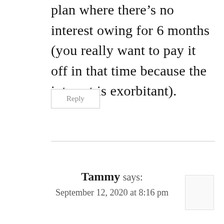plan where there's no interest owing for 6 months (you really want to pay it off in that time because the interest is exorbitant).
Reply
Tammy says:
September 12, 2020 at 8:16 pm